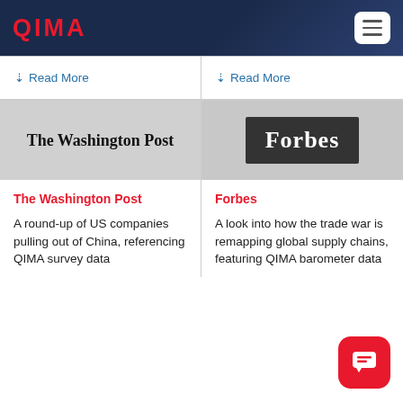QIMA
↓ Read More
↓ Read More
[Figure (logo): The Washington Post newspaper logo in black serif Gothic font on grey background]
[Figure (logo): Forbes logo in white serif font on dark grey/black rectangular background]
The Washington Post
A round-up of US companies pulling out of China, referencing QIMA survey data
Forbes
A look into how the trade war is remapping global supply chains, featuring QIMA barometer data